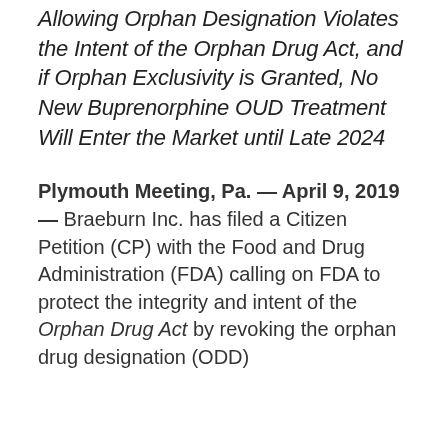Allowing Orphan Designation Violates the Intent of the Orphan Drug Act, and if Orphan Exclusivity is Granted, No New Buprenorphine OUD Treatment Will Enter the Market until Late 2024
Plymouth Meeting, Pa. — April 9, 2019 — Braeburn Inc. has filed a Citizen Petition (CP) with the Food and Drug Administration (FDA) calling on FDA to protect the integrity and intent of the Orphan Drug Act by revoking the orphan drug designation (ODD)